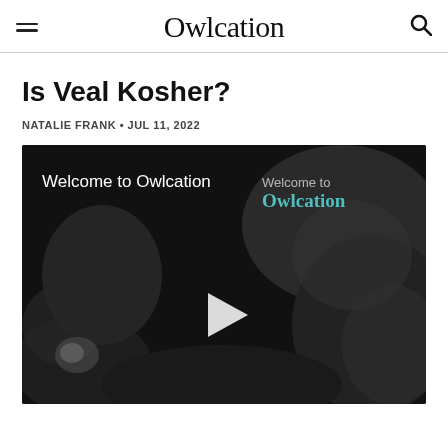Owlcation
Is Veal Kosher?
NATALIE FRANK • JUL 11, 2022
[Figure (screenshot): Video player thumbnail showing dark/moody background with text 'Welcome to Owlcation' on the left in white and 'Welcome to Owlcation' on the right (Owlcation in teal), with a white play button in the center.]